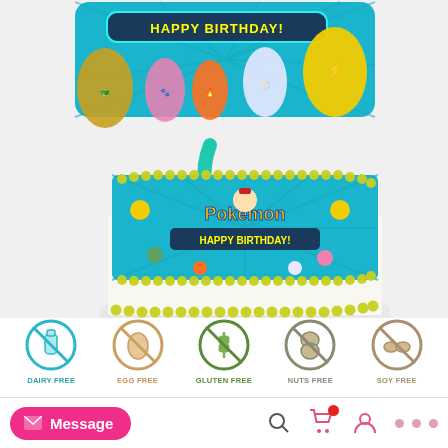[Figure (photo): A Pokemon-themed birthday cake with a rectangular white cake decorated with yellow piping/frosting borders and a Pokemon Happy Birthday edible image topper showing Pikachu, Ash, Charmander, and other Pokemon characters. Above the cake is a teal background Pokemon Happy Birthday banner graphic with an arrow pointing from the banner to the cake. The overall product shot shows the cake decoration design and the finished cake.]
[Figure (infographic): Five circular dietary icons in a row: Dairy Free (teal circle with milk bottle crossed out), Egg Free (tan circle with egg crossed out), Gluten Free (green circle with wheat crossed out), Nuts Free (gray circle with peanut crossed out), Soy Free (tan circle with soybeans crossed out). Labels below each icon.]
DAIRY FREE   EGG FREE   GLUTEN FREE   NUTS FREE   SOY FREE
Message